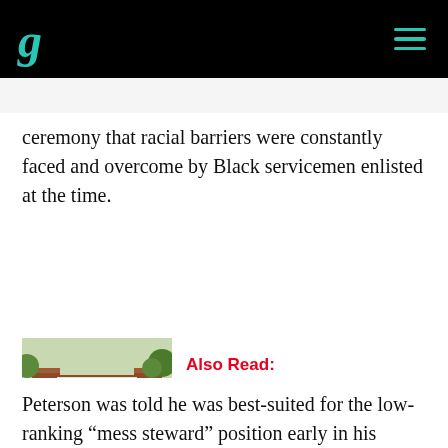g [Goodable logo navigation bar]
ceremony that racial barriers were constantly faced and overcome by Black servicemen enlisted at the time.
[Figure (photo): Clark Atlanta University entrance sign with brick pillars and iron gate]
Also Read: Cybersecurity centers coming to 6 Black colleges
Peterson was told he was best-suited for the low-ranking “mess steward” position early in his Marine Corps tenure. Later, when he was a high-